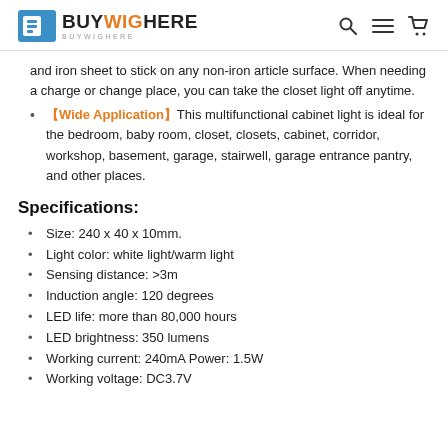BUYWIGHERE — logo with search, menu, cart icons
and iron sheet to stick on any non-iron article surface. When needing a charge or change place, you can take the closet light off anytime.
【Wide Application】This multifunctional cabinet light is ideal for the bedroom, baby room, closet, closets, cabinet, corridor, workshop, basement, garage, stairwell, garage entrance pantry, and other places.
Specifications:
Size: 240 x 40 x 10mm.
Light color: white light/warm light
Sensing distance: >3m
Induction angle: 120 degrees
LED life: more than 80,000 hours
LED brightness: 350 lumens
Working current: 240mA Power: 1.5W
Working voltage: DC3.7V